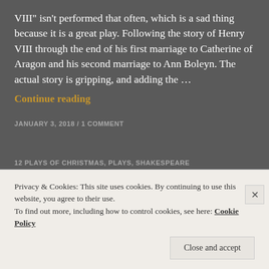VIII" isn't performed that often, which is a sad thing because it is a great play. Following the story of Henry VIII through the end of his first marriage to Catherine of Aragon and his second marriage to Ann Boleyn. The actual story is gripping, and adding the ...
Continue reading
JANUARY 3, 2018 / 1 COMMENT
12 PLAYS OF CHRISTMAS, PLAYS, SHAKESPEARE
The 12 Plays of Christmas –
Privacy & Cookies: This site uses cookies. By continuing to use this website, you agree to their use.
To find out more, including how to control cookies, see here: Cookie Policy